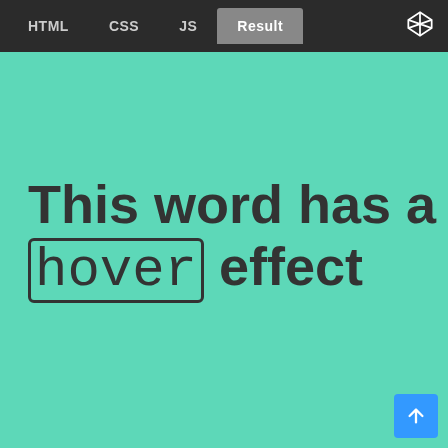HTML | CSS | JS | Result
This word has a hover effect